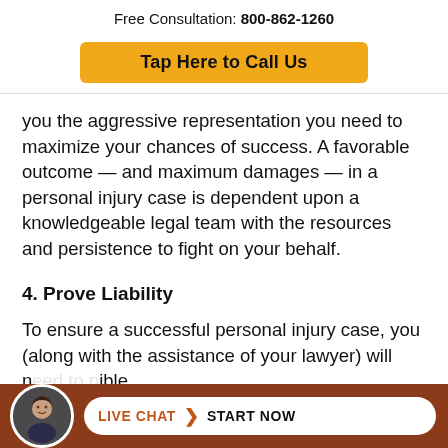Free Consultation: 800-862-1260
[Figure (other): Yellow call-to-action button with text 'Tap Here to Call Us']
you the aggressive representation you need to maximize your chances of success. A favorable outcome — and maximum damages — in a personal injury case is dependent upon a knowledgeable legal team with the resources and persistence to fight on your behalf.
4. Prove Liability
To ensure a successful personal injury case, you (along with the assistance of your lawyer) will n...o p...ible
[Figure (infographic): Bottom bar with live chat widget: avatar photo of a man, pill-shaped button with 'LIVE CHAT > START NOW' text on brown/terracotta background]